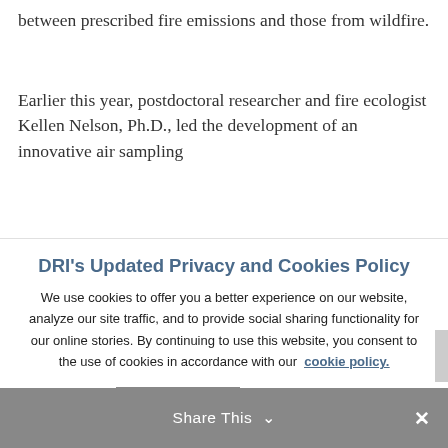between prescribed fire emissions and those from wildfire.
Earlier this year, postdoctoral researcher and fire ecologist Kellen Nelson, Ph.D., led the development of an innovative air sampling
DRI's Updated Privacy and Cookies Policy
We use cookies to offer you a better experience on our website, analyze our site traffic, and to provide social sharing functionality for our online stories. By continuing to use this website, you consent to the use of cookies in accordance with our cookie policy.
ACCEPT
REJECT
Share This ∨  ✕